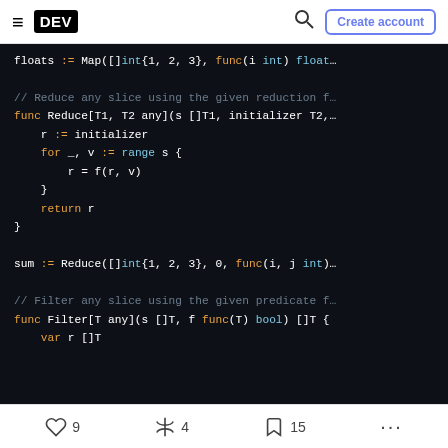DEV — Create account [navigation bar]
[Figure (screenshot): DEV.to website header with hamburger menu, DEV logo, search icon, and Create account button]
floats := Map([]int{1, 2, 3}, func(i int) float...

// Reduce any slice using the given reduction f...
func Reduce[T1, T2 any](s []T1, initializer T2,...
    r := initializer
    for _, v := range s {
        r = f(r, v)
    }
    return r
}

sum := Reduce([]int{1, 2, 3}, 0, func(i, j int)...

// Filter any slice using the given predicate f...
func Filter[T any](s []T, f func(T) bool) []T {
    var r []T
♡ 9   🎉 4   🔖 15   ...